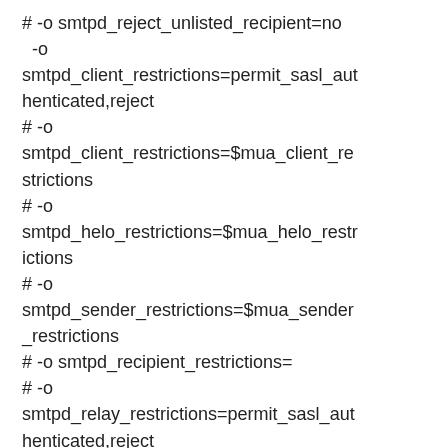# -o smtpd_reject_unlisted_recipient=no
  -o
smtpd_client_restrictions=permit_sasl_authenticated,reject
# -o
smtpd_client_restrictions=$mua_client_restrictions
# -o
smtpd_helo_restrictions=$mua_helo_restrictions
# -o
smtpd_sender_restrictions=$mua_sender_restrictions
# -o smtpd_recipient_restrictions=
# -o
smtpd_relay_restrictions=permit_sasl_authenticated,reject
  -o
milter_macro_daemon_name=ORIGINATING